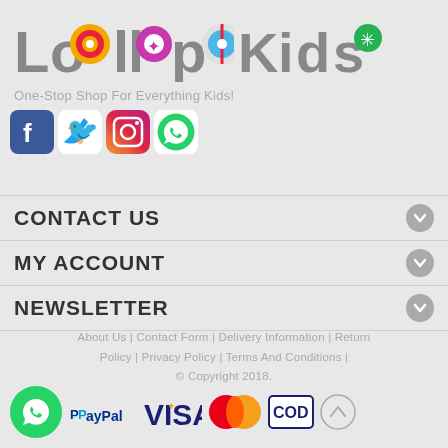[Figure (logo): LollypopKids logo with colorful candy icons replacing letters]
One-Stop Shop For Everything Kids!
[Figure (infographic): Social media icons: Facebook, Twitter, Instagram, WhatsApp]
CONTACT US
MY ACCOUNT
NEWSLETTER
About Us | Contact Form | Delivery Information | Return Policy | Privacy Policy | Terms And Conditions | © Copyright 2018.
[Figure (infographic): Payment method icons: WhatsApp green circle, PayPal, VISA, MasterCard, COD, scroll-to-top button]